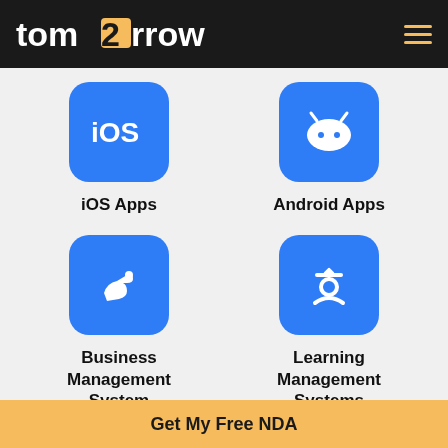tomorrow
[Figure (logo): iOS Apps icon - blue rounded square with iOS text]
iOS Apps
[Figure (logo): Android Apps icon - blue rounded square with Android robot silhouette]
Android Apps
[Figure (logo): Business Management System icon - blue rounded square with hand holding a tag]
Business Management System
[Figure (logo): Learning Management Systems icon - blue rounded square with graduation person silhouette]
Learning Management Systems
Get My Free NDA